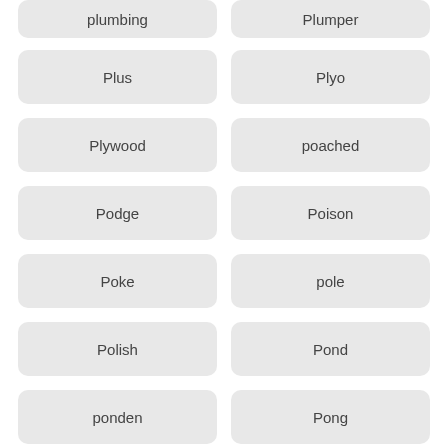plumbing
Plumper
Plus
Plyo
Plywood
poached
Podge
Poison
Poke
pole
Polish
Pond
ponden
Pong
pool
poolhouse
pools
poolside
Popcorn
Popsicle